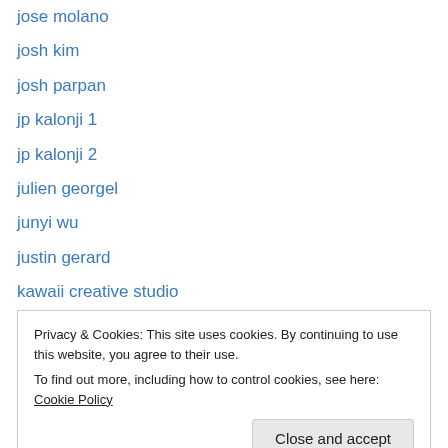jose molano
josh kim
josh parpan
jp kalonji 1
jp kalonji 2
julien georgel
junyi wu
justin gerard
kawaii creative studio
kei kobayashi
kekai kotaki
kenny tai
kevin dart
Privacy & Cookies: This site uses cookies. By continuing to use this website, you agree to their use. To find out more, including how to control cookies, see here: Cookie Policy
Close and accept